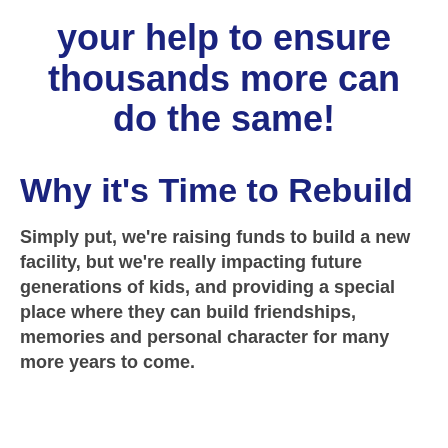your help to ensure thousands more can do the same!
Why it's Time to Rebuild
Simply put, we're raising funds to build a new facility, but we're really impacting future generations of kids, and providing a special place where they can build friendships, memories and personal character for many more years to come.